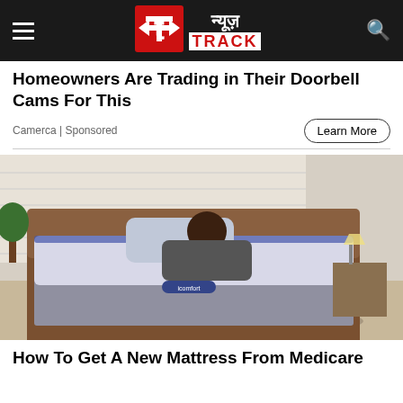न्यूज़ TRACK
Homeowners Are Trading in Their Doorbell Cams For This
Camerca | Sponsored
[Figure (photo): Woman lying on an adjustable mattress/bed in a modern bedroom]
How To Get A New Mattress From Medicare